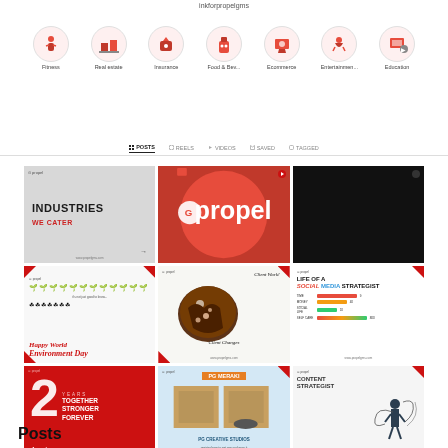inkforpropelgms
[Figure (infographic): Category icons row: Fitness, Real estate, Insurance, Food & Bev, Ecommerce, Entertainmen..., Education]
[Figure (screenshot): Instagram profile navigation tabs: Posts (active), Reels, Videos, Saved, Tagged]
[Figure (screenshot): 3x3 Instagram grid of posts: Row 1: Industries We Cater (gray), Propel logo on red/orange bg, Black screen. Row 2: Happy World Environment Day, Donut with Client Work / Client Changes text, Life of a Social Media Strategist bar chart. Row 3: 2 Years Anniversary red card, PG Meraki / PG Creative Studios blue, Content Strategist gray.]
Posts